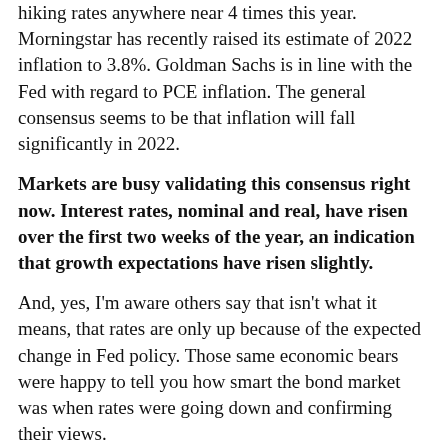hiking rates anywhere near 4 times this year. Morningstar has recently raised its estimate of 2022 inflation to 3.8%. Goldman Sachs is in line with the Fed with regard to PCE inflation. The general consensus seems to be that inflation will fall significantly in 2022.
Markets are busy validating this consensus right now. Interest rates, nominal and real, have risen over the first two weeks of the year, an indication that growth expectations have risen slightly.
And, yes, I'm aware others say that isn't what it means, that rates are only up because of the expected change in Fed policy. Those same economic bears were happy to tell you how smart the bond market was when rates were going down and confirming their views.
I don't think the bond market has gotten any dumber in the last few months. There is the matter of the yield curve and it is certainly not as steep as one bullish on the economy might like, but the economy is far from...